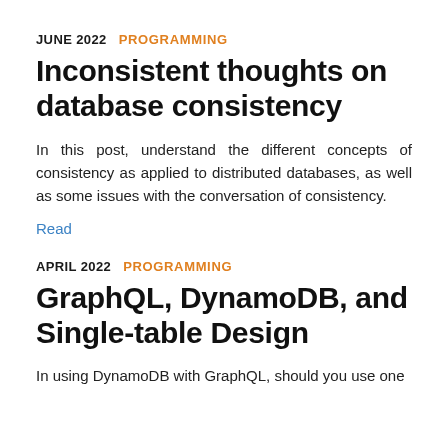JUNE 2022  PROGRAMMING
Inconsistent thoughts on database consistency
In this post, understand the different concepts of consistency as applied to distributed databases, as well as some issues with the conversation of consistency.
Read
APRIL 2022  PROGRAMMING
GraphQL, DynamoDB, and Single-table Design
In using DynamoDB with GraphQL, should you use one